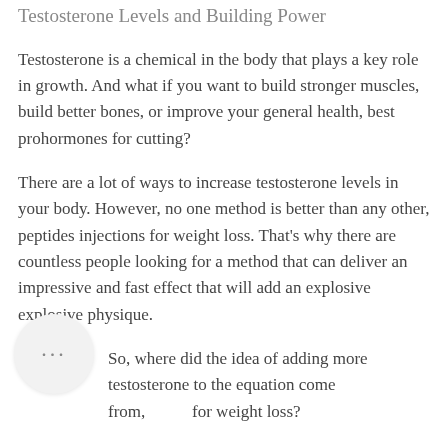Testosterone Levels and Building Power
Testosterone is a chemical in the body that plays a key role in growth. And what if you want to build stronger muscles, build better bones, or improve your general health, best prohormones for cutting?
There are a lot of ways to increase testosterone levels in your body. However, no one method is better than any other, peptides injections for weight loss. That's why there are countless people looking for a method that can deliver an impressive and fast effect that will add an explosive explosive physique.
So, where did the idea of adding more testosterone to the equation come from, for weight loss?
Well, we are sure that many of you are